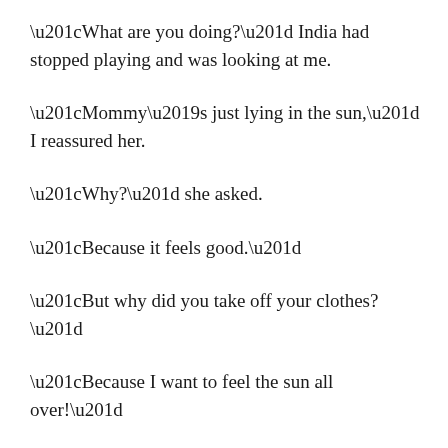“What are you doing?” India had stopped playing and was looking at me.
“Mommy’s just lying in the sun,” I reassured her.
“Why?” she asked.
“Because it feels good.”
“But why did you take off your clothes?”
“Because I want to feel the sun all over!”
“Oh, can I lie in the sun too?”